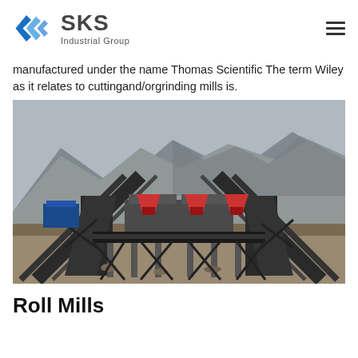[Figure (logo): SKS Industrial Group logo with blue diamond/arrow icon and company name]
manufactured under the name Thomas Scientific The term Wiley as it relates to cuttingand/orgrinding mills is.
[Figure (photo): Industrial quarry/mining site with large conveyor belts, crushing equipment, and machinery against a rocky mountain backdrop]
Roll Mills